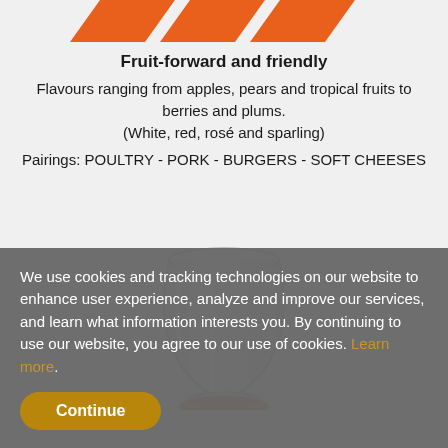[Figure (illustration): Three orange downward-pointing chevron/arrow shapes at the top of the page]
Fruit-forward and friendly
Flavours ranging from apples, pears and tropical fruits to berries and plums.
(White, red, rosé and sparling)
Pairings: POULTRY - PORK - BURGERS - SOFT CHEESES
[Figure (photo): A clear stemless wine glass centered on the page]
We use cookies and tracking technologies on our website to enhance user experience, analyze and improve our services, and learn what information interests you. By continuing to use our website, you agree to our use of cookies. Learn more.
Continue